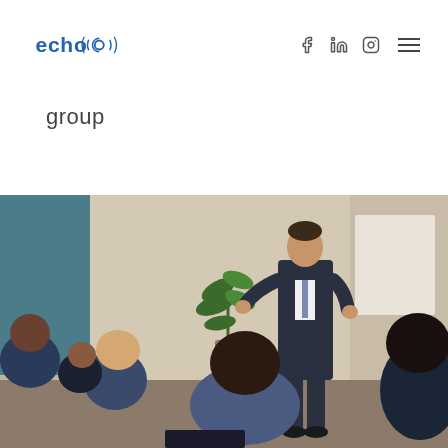echo group
group
[Figure (photo): A man in a dark suit presenting to a seated audience in a professional meeting room setting. Several attendees are visible from behind, and there is a plant in the background.]